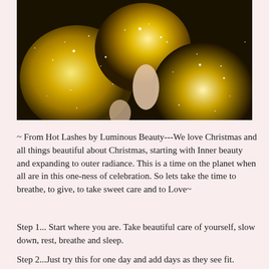[Figure (photo): Close-up photo of glittery gold Christmas ornament balls being held by a person's hand, against a dark background with sparkle/glitter texture.]
~ From Hot Lashes by Luminous Beauty---We love Christmas and all things beautiful about Christmas, starting with Inner beauty and expanding to outer radiance. This is a time on the planet when all are in this one-ness of celebration. So lets take the time to breathe, to give, to take sweet care and to Love~
Step 1... Start where you are. Take beautiful care of yourself, slow down, rest, breathe and sleep.
Step 2...Just try this for one day and add days as they see fit. Give~ Really give of your time, your caring, volunteer somewhere. Give...